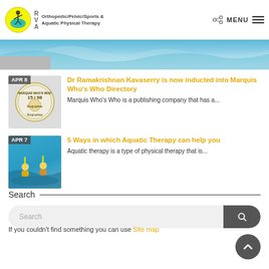RVA Orthopedic/Pelvic/Sports & Aquatic Physical Therapy — MENU
[Figure (screenshot): Wave/water banner image with blue gradient and grey placeholder block on left]
[Figure (photo): APR 8 thumbnail with biographical seal medallion on grey background]
Dr Ramakrishnan Kavaserry is now inducted into Marquis Who's Who Directory
Marquis Who's Who is a publishing company that has a...
[Figure (photo): APR 7 thumbnail showing aquatic therapy session with people in pool]
5 Ways in which Aquatic Therapy can help you
Aquatic therapy is a type of physical therapy that is...
Search
If you couldn't find something you can use Site map